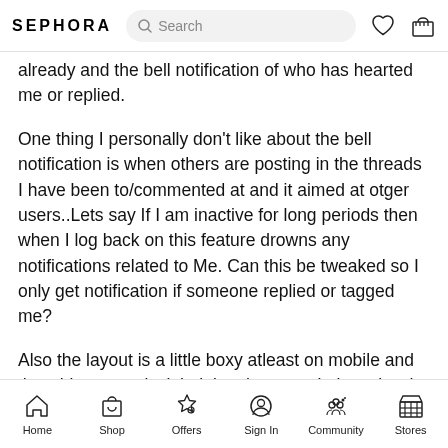SEPHORA [Search bar] [Heart icon] [Bag icon]
already and the bell notification of who has hearted me or replied.
One thing I personally don't like about the bell notification is when others are posting in the threads I have been to/commented at and it aimed at otger users..Lets say If I am inactive for long periods then when I log back on this feature drowns any notifications related to Me. Can this be tweaked so I only get notification if someone replied or tagged me?
Also the layout is a little boxy atleast on mobile and the white space isn't helping the eyes. I also miss the thumbnails on the main page as this drew me into threads
Home  Shop  Offers  Sign In  Community  Stores